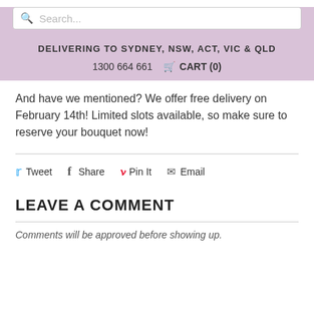Search... | DELIVERING TO SYDNEY, NSW, ACT, VIC & QLD | 1300 664 661  CART (0)
And have we mentioned? We offer free delivery on February 14th! Limited slots available, so make sure to reserve your bouquet now!
Tweet  Share  Pin It  Email
LEAVE A COMMENT
Comments will be approved before showing up.